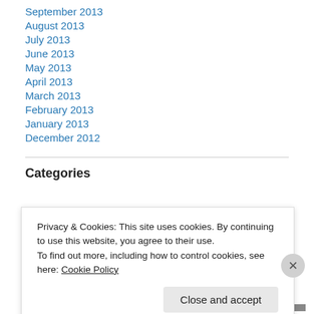September 2013
August 2013
July 2013
June 2013
May 2013
April 2013
March 2013
February 2013
January 2013
December 2012
Categories
Privacy & Cookies: This site uses cookies. By continuing to use this website, you agree to their use.
To find out more, including how to control cookies, see here: Cookie Policy